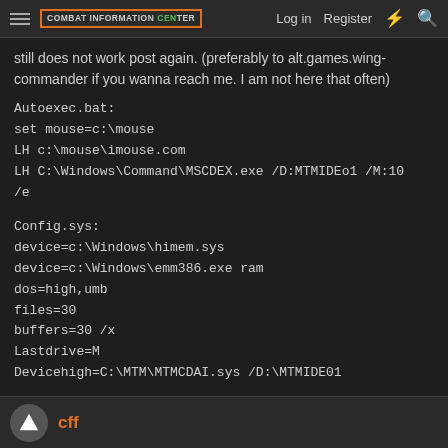COMBAT INFORMATION CENTER | Log in | Register
still does not work post again. (preferably to alt.games.wing-commander if you wanna reach me. I am not here that often)
Autoexec.bat:
set mouse=c:\mouse
LH c:\mouse\imouse.com
LH C:\Windows\Command\MSCDEX.exe /D:MTMIDEo1 /M:10
/e
Config.sys:
device=c:\Windows\himem.sys
device=c:\Windows\emm386.exe ram
dos=high,umb
files=30
buffers=30 /x
Lastdrive=M
Devicehigh=C:\MTM\MTMCDAI.sys /D:\MTMIDE01
cff